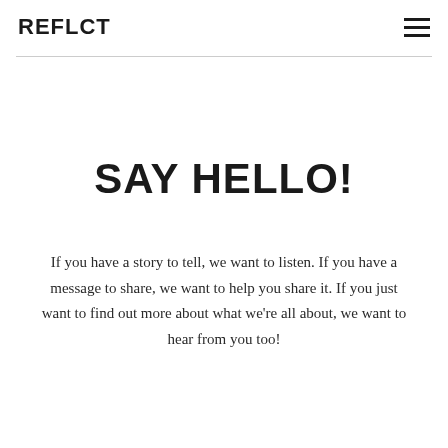REFLCT
SAY HELLO!
If you have a story to tell, we want to listen. If you have a message to share, we want to help you share it. If you just want to find out more about what we're all about, we want to hear from you too!